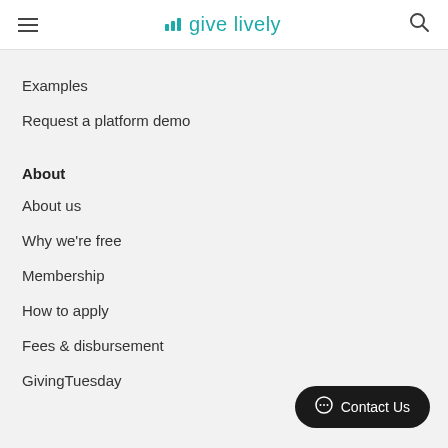give lively
Examples
Request a platform demo
About
About us
Why we're free
Membership
How to apply
Fees & disbursement
GivingTuesday